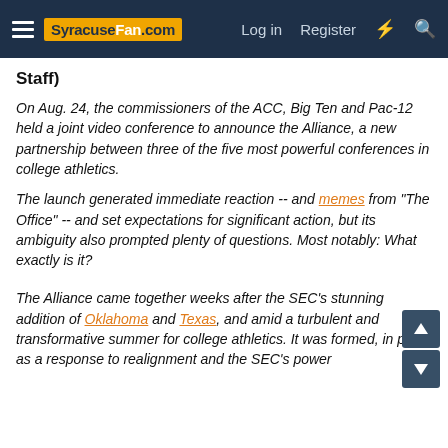SyracuseFan.com | Log in | Register
Staff)
On Aug. 24, the commissioners of the ACC, Big Ten and Pac-12 held a joint video conference to announce the Alliance, a new partnership between three of the five most powerful conferences in college athletics.
The launch generated immediate reaction -- and memes from "The Office" -- and set expectations for significant action, but its ambiguity also prompted plenty of questions. Most notably: What exactly is it?
The Alliance came together weeks after the SEC's stunning addition of Oklahoma and Texas, and amid a turbulent and transformative summer for college athletics. It was formed, in part, as a response to realignment and the SEC's power